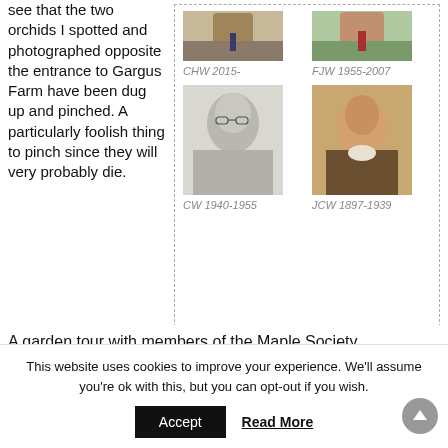see that the two orchids I spotted and photographed opposite the entrance to Gargus Farm have been dug up and pinched. A particularly foolish thing to pinch since they will very probably die.
[Figure (photo): Photo of CHW, labeled CHW 2015-]
CHW 2015-
[Figure (photo): Photo of FJW, labeled FJW 1955-2007]
FJW 1955-2007
[Figure (photo): Black and white photo of CW, labeled CW 1940-1955]
CW 1940-1955
[Figure (photo): Portrait painting of JCW, labeled JCW 1897-1939]
JCW 1897-1939
A garden tour with members of the Maple Society.
This website uses cookies to improve your experience. We'll assume you're ok with this, but you can opt-out if you wish.
Accept
Read More